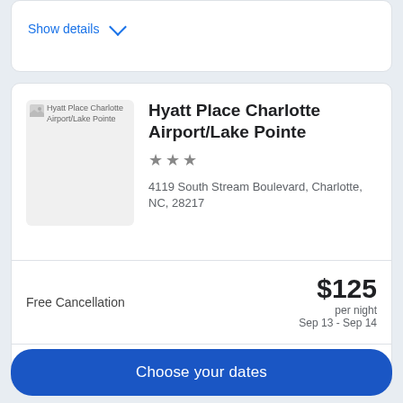Show details
Hyatt Place Charlotte Airport/Lake Pointe
4119 South Stream Boulevard, Charlotte, NC, 28217
Free Cancellation
$125 per night Sep 13 - Sep 14
Show details
Choose your dates